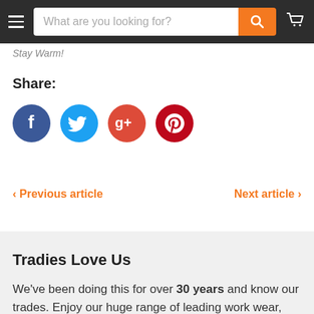What are you looking for?
Stay Warm!
Share:
[Figure (infographic): Social sharing icons: Facebook (dark blue circle), Twitter (light blue circle), Google Plus (red circle), Pinterest (dark red circle)]
< Previous article    Next article >
Tradies Love Us
We've been doing this for over 30 years and know our trades. Enjoy our huge range of leading work wear, safety wear and casual clothing.